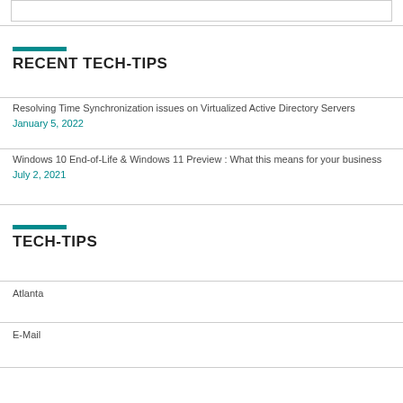RECENT TECH-TIPS
Resolving Time Synchronization issues on Virtualized Active Directory Servers January 5, 2022
Windows 10 End-of-Life & Windows 11 Preview : What this means for your business July 2, 2021
TECH-TIPS
Atlanta
E-Mail